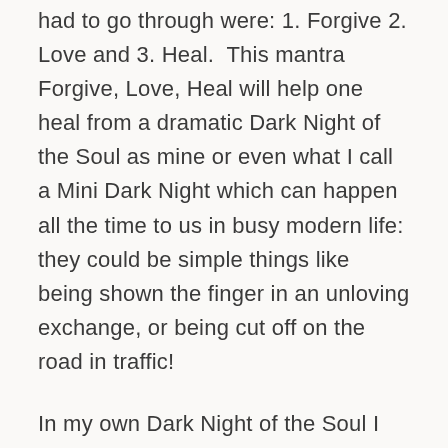had to go through were: 1. Forgive 2. Love and 3. Heal.  This mantra Forgive, Love, Heal will help one heal from a dramatic Dark Night of the Soul as mine or even what I call a Mini Dark Night which can happen all the time to us in busy modern life: they could be simple things like being shown the finger in an unloving exchange, or being cut off on the road in traffic!
In my own Dark Night of the Soul I had to deal with prostrate cancer, surgical complications, life threatening sepsis, depression, chronic pain and